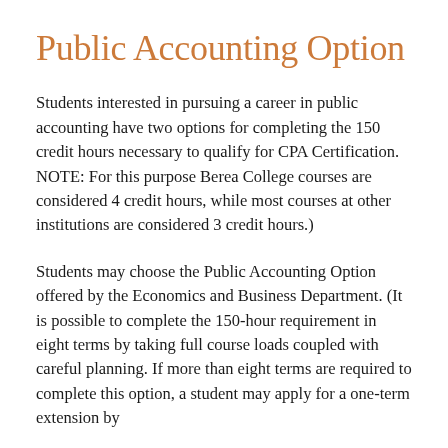Public Accounting Option
Students interested in pursuing a career in public accounting have two options for completing the 150 credit hours necessary to qualify for CPA Certification. NOTE: For this purpose Berea College courses are considered 4 credit hours, while most courses at other institutions are considered 3 credit hours.)
Students may choose the Public Accounting Option offered by the Economics and Business Department. (It is possible to complete the 150-hour requirement in eight terms by taking full course loads coupled with careful planning. If more than eight terms are required to complete this option, a student may apply for a one-term extension by